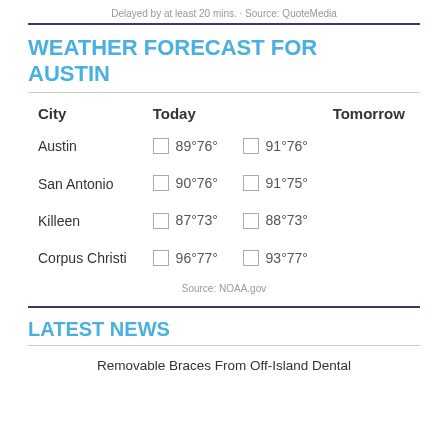Delayed by at least 20 mins. · Source: QuoteMedia
WEATHER FORECAST FOR AUSTIN
| City | Today | Tomorrow |
| --- | --- | --- |
| Austin | ☁ 89°76° | ☁ 91°76° |
| San Antonio | ☁ 90°76° | ☁ 91°75° |
| Killeen | ☁ 87°73° | ☁ 88°73° |
| Corpus Christi | ☁ 96°77° | ☁ 93°77° |
Source: NOAA.gov
LATEST NEWS
Removable Braces From Off-Island Dental